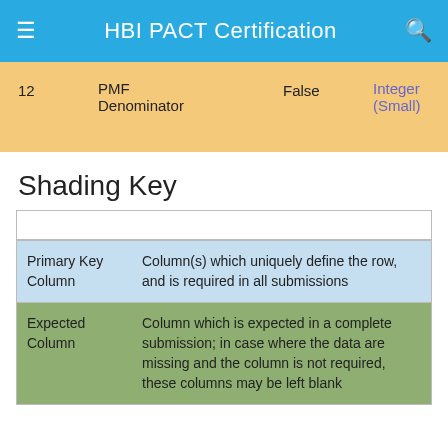HBI PACT Certification
| 12 | PMF Denominator | False | Integer (Small) |
Shading Key
|  |  |
| --- | --- |
|  |  |
| Primary Key Column | Column(s) which uniquely define the row, and is required in all submissions |
| Expected Column | Column which is expected in a complete submission; in case where the data are missing and the column is not required, these columns may be left blank |